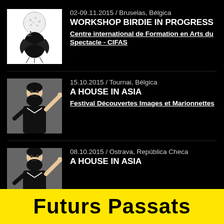[Figure (photo): Black and white illustration of a bird-like figure with a golf ball head]
02-09.11.2015 / Bruselas, Bélgica
WORKSHOP BIRDIE IN PROGRESS
Centre international de Formation en Arts du Spectacle - CIFAS
[Figure (photo): Photo of a person in costume with a black beard and pointing finger, wearing a dark outfit]
15.10.2015 / Tournai, Bélgica
A HOUSE IN ASIA
Festival Découvertes Images et Marionnettes
[Figure (photo): Photo of a person in costume with a black beard and pointing finger, wearing a dark outfit]
08.10.2015 / Ostrava, República Checa
A HOUSE IN ASIA
Futurs Passats